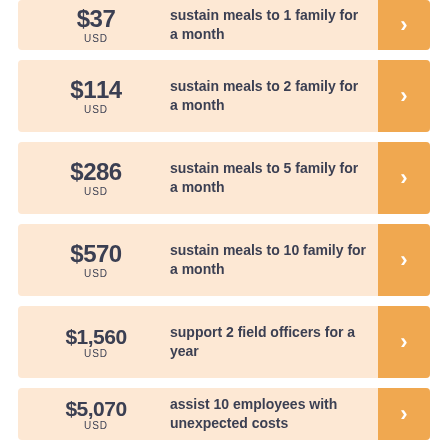$37 USD – sustain meals to 1 family for a month
$114 USD – sustain meals to 2 family for a month
$286 USD – sustain meals to 5 family for a month
$570 USD – sustain meals to 10 family for a month
$1,560 USD – support 2 field officers for a year
$5,070 USD – assist 10 employees with unexpected costs